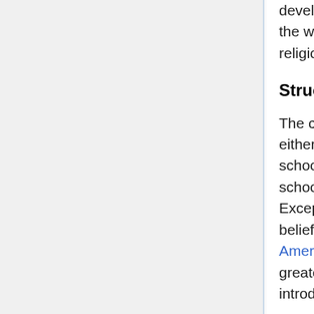developing parts of the world, and in traditional Islamic countries, the whole education process continues to be directed by religious leaders or missionary groups.
Structures and Curriculum
The curriculum in faith schools for most subjects usually follows either the national or local prescribed curriculum (in the case of schools receiving state funding), or the trends within private schools in the area (in the case of fee paying schools). Exceptions may be where the syllabus conflicts with the religious beliefs of the community, for example the refusal of some American schools to teach creationism. There is usually a greater amount of time spent on Religious Instruction (the introduction